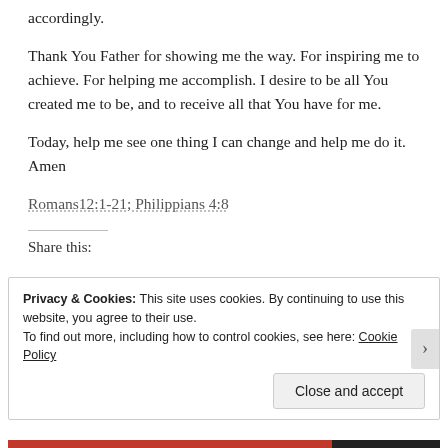accordingly.
Thank You Father for showing me the way.  For inspiring me to achieve.  For helping me accomplish.  I desire to be all You created me to be, and to receive all that You have for me.
Today, help me see one thing I can change and help me do it.  Amen
Romans12:1-21; Philippians 4:8
Share this:
Privacy & Cookies: This site uses cookies. By continuing to use this website, you agree to their use. To find out more, including how to control cookies, see here: Cookie Policy
Close and accept